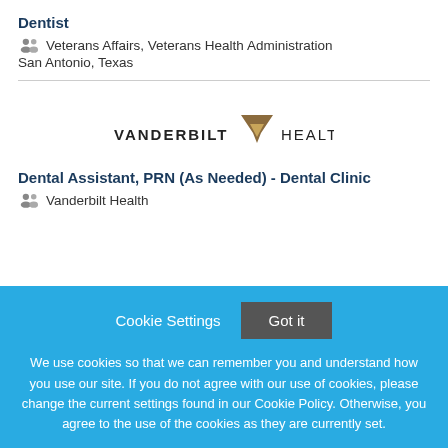Dentist
Veterans Affairs, Veterans Health Administration
San Antonio, Texas
[Figure (logo): Vanderbilt Health logo with stylized V and text VANDERBILT HEALTH]
Dental Assistant, PRN (As Needed) - Dental Clinic
Vanderbilt Health
Cookie Settings  Got it
We use cookies so that we can remember you and understand how you use our site. If you do not agree with our use of cookies, please change the current settings found in our Cookie Policy. Otherwise, you agree to the use of the cookies as they are currently set.